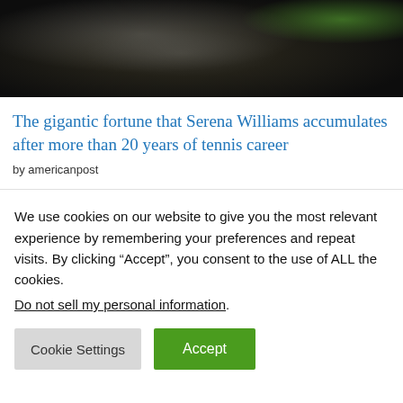[Figure (photo): Close-up photo of a person wearing a dark shirt, with a blurred green object in the upper right background]
The gigantic fortune that Serena Williams accumulates after more than 20 years of tennis career
by americanpost
We use cookies on our website to give you the most relevant experience by remembering your preferences and repeat visits. By clicking “Accept”, you consent to the use of ALL the cookies.
Do not sell my personal information.